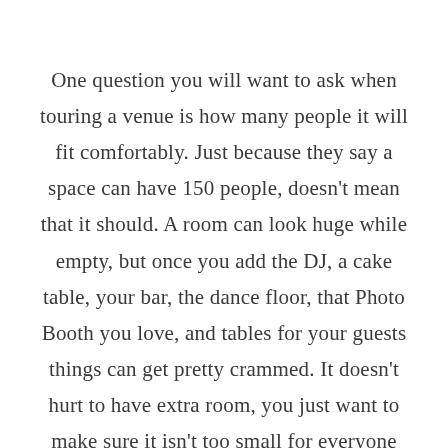One question you will want to ask when touring a venue is how many people it will fit comfortably. Just because they say a space can have 150 people, doesn't mean that it should. A room can look huge while empty, but once you add the DJ, a cake table, your bar, the dance floor, that Photo Booth you love, and tables for your guests things can get pretty crammed. It doesn't hurt to have extra room, you just want to make sure it isn't too small for everyone and everything!